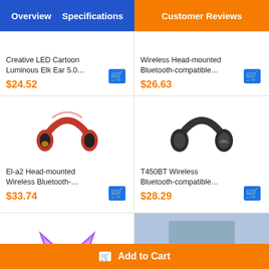Overview  Specifications  Customer Reviews
Creative LED Cartoon Luminous Elk Ear 5.0...
$24.52
[Figure (illustration): Red patterned over-ear headphones (El-a2)]
El-a2 Head-mounted Wireless Bluetooth-...
$33.74
[Figure (illustration): Cat-ear style headphones with purple/pink glow, partial view]
Wireless Head-mounted Bluetooth-compatible...
$26.63
[Figure (illustration): Black JBL T450BT over-ear headphones]
T450BT Wireless Bluetooth-compatible...
$28.29
[Figure (illustration): Blue/grey headphones, partial top view]
Add to Cart